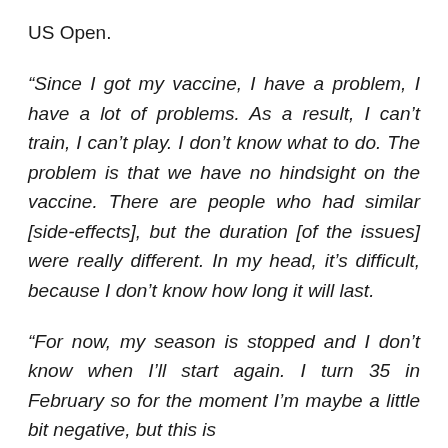US Open.
“Since I got my vaccine, I have a problem, I have a lot of problems. As a result, I can’t train, I can’t play. I don’t know what to do. The problem is that we have no hindsight on the vaccine. There are people who had similar [side-effects], but the duration [of the issues] were really different. In my head, it’s difficult, because I don’t know how long it will last.
“For now, my season is stopped and I don’t know when I’ll start again. I turn 35 in February so for the moment I’m maybe a little bit negative, but this is